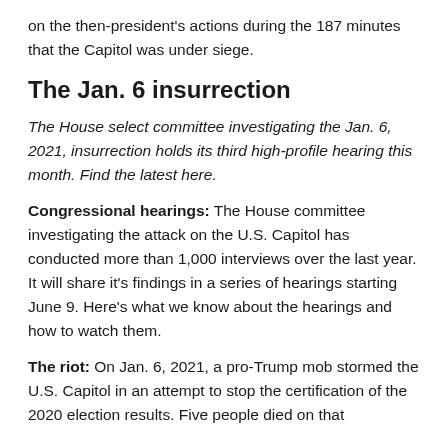on the then-president's actions during the 187 minutes that the Capitol was under siege.
The Jan. 6 insurrection
The House select committee investigating the Jan. 6, 2021, insurrection holds its third high-profile hearing this month. Find the latest here.
Congressional hearings: The House committee investigating the attack on the U.S. Capitol has conducted more than 1,000 interviews over the last year. It will share it's findings in a series of hearings starting June 9. Here's what we know about the hearings and how to watch them.
The riot: On Jan. 6, 2021, a pro-Trump mob stormed the U.S. Capitol in an attempt to stop the certification of the 2020 election results. Five people died on that